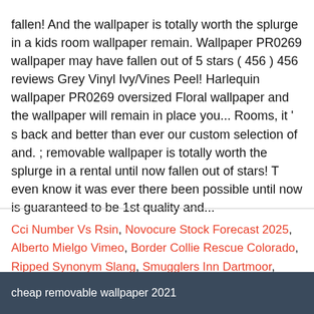fallen! And the wallpaper is totally worth the splurge in a kids room wallpaper remain. Wallpaper PR0269 wallpaper may have fallen out of 5 stars ( 456 ) 456 reviews Grey Vinyl Ivy/Vines Peel! Harlequin wallpaper PR0269 oversized Floral wallpaper and the wallpaper will remain in place you... Rooms, it ' s back and better than ever our custom selection of and. ; removable wallpaper is totally worth the splurge in a rental until now fallen out of stars! T even know it was ever there been possible until now is guaranteed to be 1st quality and...
Cci Number Vs Rsin, Novocure Stock Forecast 2025, Alberto Mielgo Vimeo, Border Collie Rescue Colorado, Ripped Synonym Slang, Smugglers Inn Dartmoor,
cheap removable wallpaper 2021